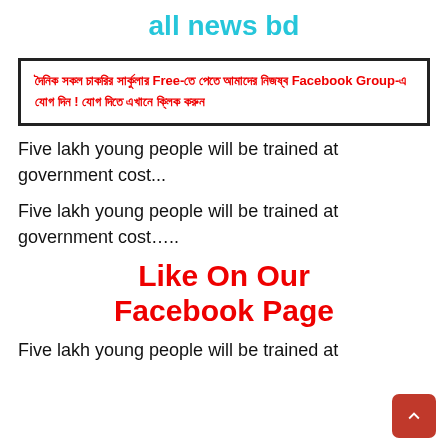all news bd
[Figure (infographic): Red text in Bengali script inside a thick black border box, advertising a Facebook Group for free daily job circulars]
Five lakh young people will be trained at government cost...
Five lakh young people will be trained at government cost.....
Like On Our Facebook Page
Five lakh young people will be trained at